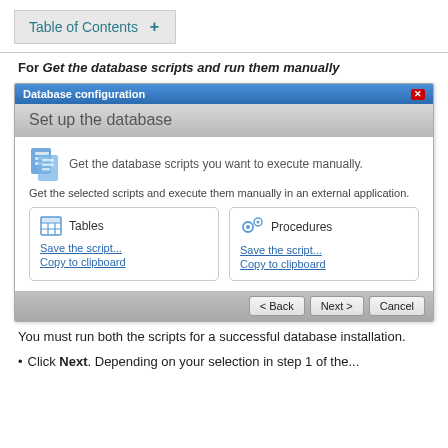Table of Contents +
For Get the database scripts and run them manually
[Figure (screenshot): Database configuration dialog - 'Set up the database' screen showing options to get database scripts manually. Contains two cards: Tables (Save the script..., Copy to clipboard) and Procedures (Save the script..., Copy to clipboard). Navigation buttons: < Back, Next >, Cancel.]
You must run both the scripts for a successful database installation.
Click Next. Depending on your selection in step 1 of the...